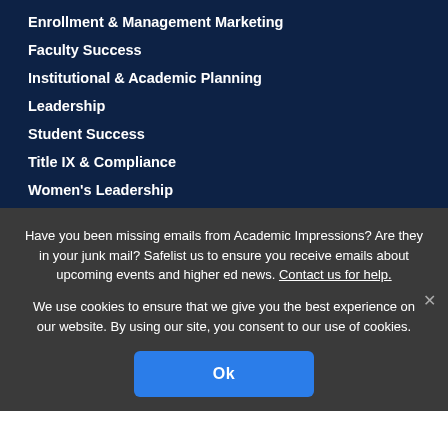Enrollment & Management Marketing
Faculty Success
Institutional & Academic Planning
Leadership
Student Success
Title IX & Compliance
Women's Leadership
Have you been missing emails from Academic Impressions? Are they in your junk mail? Safelist us to ensure you receive emails about upcoming events and higher ed news. Contact us for help.
We use cookies to ensure that we give you the best experience on our website. By using our site, you consent to our use of cookies.
Ok